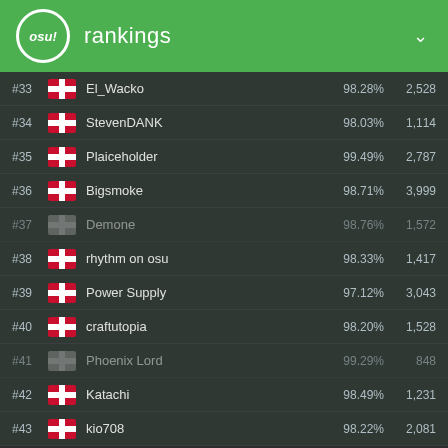osu! rankings
| Rank | Flag | Username | Accuracy | PP |
| --- | --- | --- | --- | --- |
| #33 | DK | El_Wacko | 98.28% | 2,528 |
| #34 | DK | StevenDANK | 98.03% | 1,114 |
| #35 | DK | Plaiceholder | 99.49% | 2,787 |
| #36 | DK | Bigsmoke | 98.71% | 3,999 |
| #37 | DK | Demone | 98.76% | 1,572 |
| #38 | DK | rhythm on osu | 98.33% | 1,417 |
| #39 | DK | Power Supply | 97.12% | 3,043 |
| #40 | DK | craftutopia | 98.20% | 1,528 |
| #41 | DK | Phoenix Lord | 99.29% | 848 |
| #42 | DK | Katachi | 98.49% | 1,231 |
| #43 | DK | kio708 | 98.22% | 2,081 |